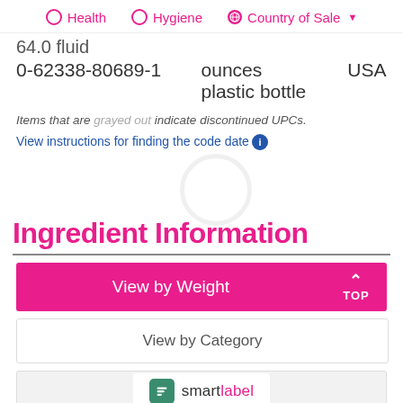Health   Hygiene   Country of Sale
| 0-62338-80689-1 | 64.0 fluid ounces plastic bottle | USA |
Items that are grayed out indicate discontinued UPCs.
View instructions for finding the code date
Ingredient Information
View by Weight
View by Category
[Figure (logo): SmartLabel logo with green icon and pink/black text]